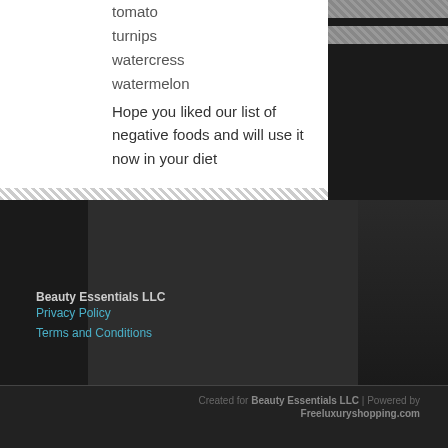tomato
turnips
watercress
watermelon
Hope you liked our list of negative foods and will use it now in your diet
Beauty Essentials LLC
Privacy Policy
Terms and Conditions
Created for Beauty Essentials LLC | Powered by Freeluxuryshopping.com